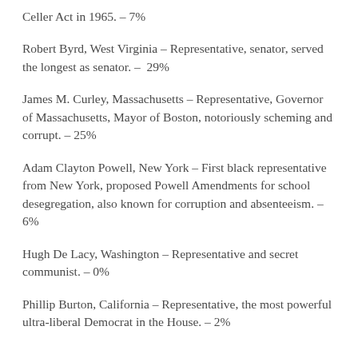Celler Act in 1965. – 7%
Robert Byrd, West Virginia – Representative, senator, served the longest as senator. – 29%
James M. Curley, Massachusetts – Representative, Governor of Massachusetts, Mayor of Boston, notoriously scheming and corrupt. – 25%
Adam Clayton Powell, New York – First black representative from New York, proposed Powell Amendments for school desegregation, also known for corruption and absenteeism. – 6%
Hugh De Lacy, Washington – Representative and secret communist. – 0%
Phillip Burton, California – Representative, the most powerful ultra-liberal Democrat in the House. – 2%